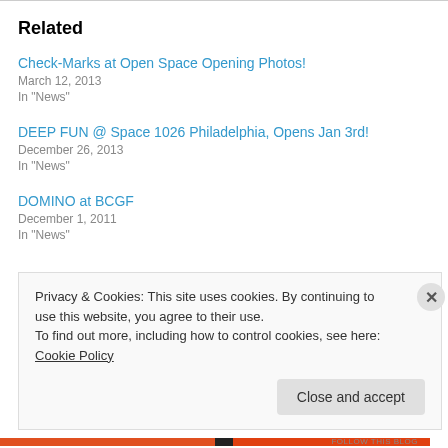Related
Check-Marks at Open Space Opening Photos!
March 12, 2013
In "News"
DEEP FUN @ Space 1026 Philadelphia, Opens Jan 3rd!
December 26, 2013
In "News"
DOMINO at BCGF
December 1, 2011
In "News"
Privacy & Cookies: This site uses cookies. By continuing to use this website, you agree to their use.
To find out more, including how to control cookies, see here: Cookie Policy
[Close and accept]